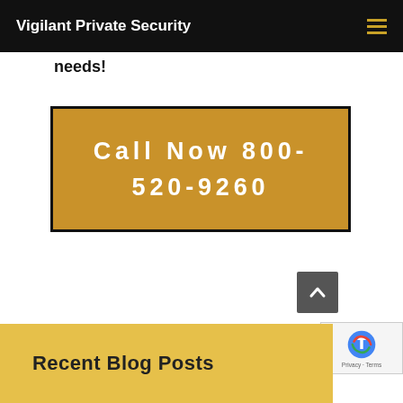Vigilant Private Security
needs!
[Figure (other): Gold/yellow CTA button with bold white text reading 'Call Now 800-520-9260' on a dark-bordered golden background]
Recent Blog Posts